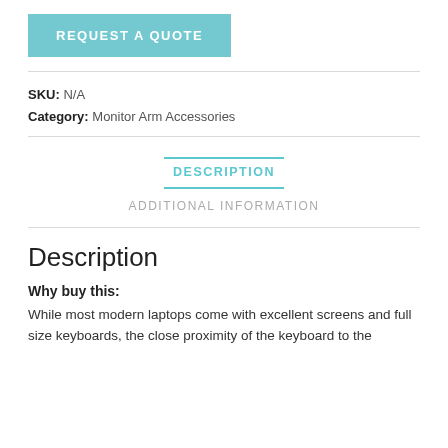REQUEST A QUOTE
SKU: N/A
Category: Monitor Arm Accessories
DESCRIPTION
ADDITIONAL INFORMATION
Description
Why buy this:
While most modern laptops come with excellent screens and full size keyboards, the close proximity of the keyboard to the